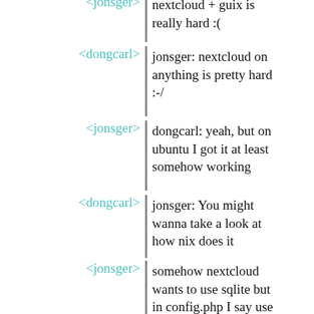<jonsger> nextcloud + guix is really hard :(
<dongcarl> jonsger: nextcloud on anything is pretty hard :-/
<jonsger> dongcarl: yeah, but on ubuntu I got it at least somehow working
<dongcarl> jonsger: You might wanna take a look at how nix does it
<jonsger> somehow nextcloud wants to use sqlite but in config.php I say use mysql
<raghav-gururajan> Folks! Are there any